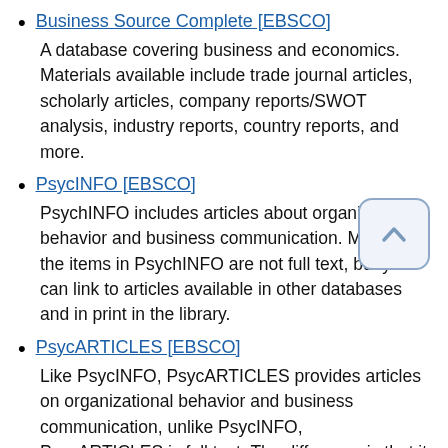Business Source Complete [EBSCO]
A database covering business and economics. Materials available include trade journal articles, scholarly articles, company reports/SWOT analysis, industry reports, country reports, and more.
PsycINFO [EBSCO]
PsychINFO includes articles about organizational behavior and business communication. Most of the items in PsychINFO are not full text, but you can link to articles available in other databases and in print in the library.
PsycARTICLES [EBSCO]
Like PsycINFO, PsycARTICLES provides articles on organizational behavior and business communication, unlike PsycINFO, PsycARTICLES is full text. The difference is that it only includes articles from 70 journals published by the American Psychological Association and its